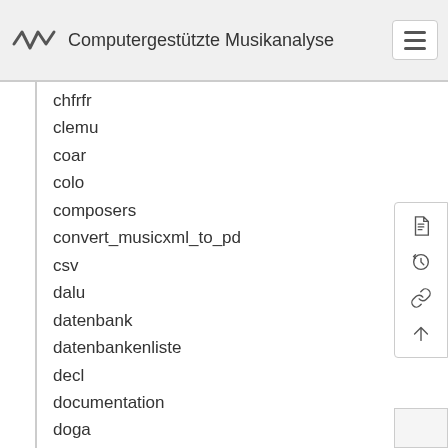Computergestützte Musikanalyse
chfrfr
clemu
coar
colo
composers
convert_musicxml_to_pd
csv
dalu
datenbank
datenbankenliste
decl
documentation
doga
dokumentation
dugui
dvoan
eled
faga
fama
faq